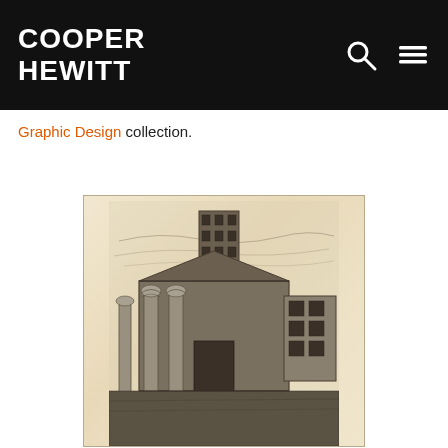COOPER HEWITT
Graphic Design collection.
[Figure (illustration): Antique etching/engraving of a Roman architectural scene featuring classical columns with Corinthian capitals, a tall tower (campanile), and surrounding buildings in a sepia/monochrome tone on aged paper background.]